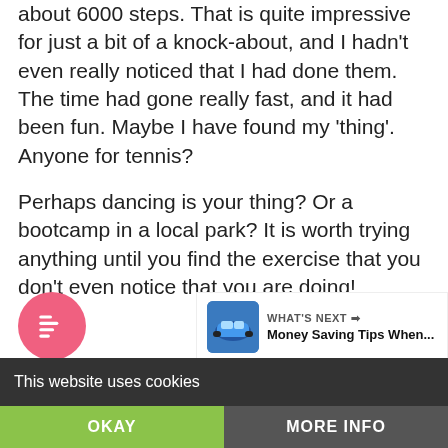about 6000 steps. That is quite impressive for just a bit of a knock-about, and I hadn't even really noticed that I had done them. The time had gone really fast, and it had been fun. Maybe I have found my 'thing'. Anyone for tennis?
Perhaps dancing is your thing? Or a bootcamp in a local park? It is worth trying anything until you find the exercise that you don't even notice that you are doing!
[Figure (other): Heart/like button (teal circle with heart icon), count '1', and share button on right side]
[Figure (other): Pink circular TOC (table of contents) button at bottom left with list icon]
[Figure (other): What's Next promo: car image thumbnail with text 'WHAT'S NEXT → Money Saving Tips When...']
This website uses cookies
OKAY
MORE INFO